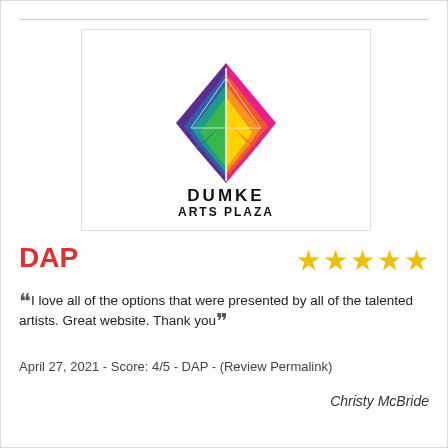[Figure (logo): Dumke Arts Plaza logo: colorful diamond/chevron shape in rainbow colors with text 'DUMKE ARTS PLAZA' below in bold black sans-serif]
DAP
[Figure (other): 4 out of 5 gold star rating]
“I love all of the options that were presented by all of the talented artists. Great website. Thank you”
April 27, 2021 - Score: 4/5 - DAP - (Review Permalink)
Christy McBride